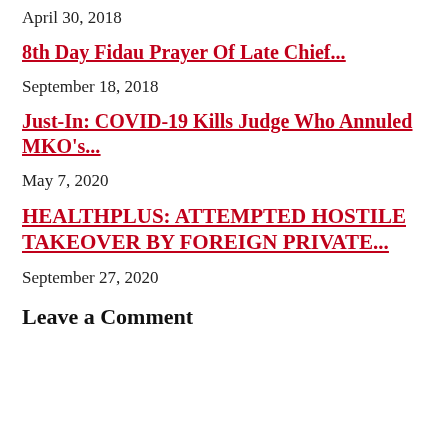April 30, 2018
8th Day Fidau Prayer Of Late Chief...
September 18, 2018
Just-In: COVID-19 Kills Judge Who Annuled MKO's...
May 7, 2020
HEALTHPLUS: ATTEMPTED HOSTILE TAKEOVER BY FOREIGN PRIVATE...
September 27, 2020
Leave a Comment